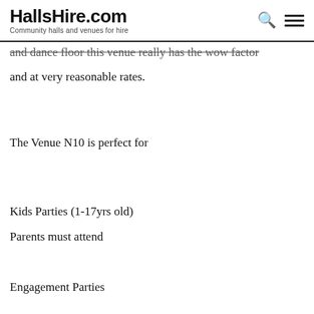special events and parties with our stylish modern
HallsHire.com — Community halls and venues for hire
and dance floor this venue really has the wow factor and at very reasonable rates.
The Venue N10 is perfect for
Kids Parties (1-17yrs old)
Parents must attend
Engagement Parties